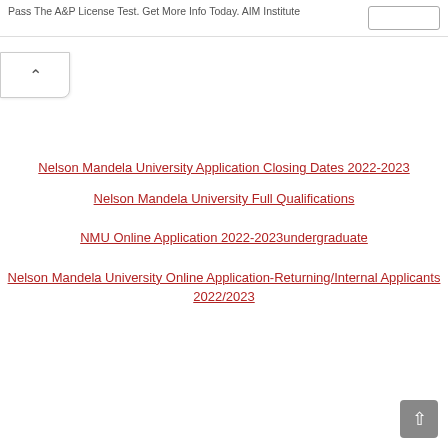Pass The A&P License Test. Get More Info Today. AIM Institute
Nelson Mandela University Application Closing Dates 2022-2023
Nelson Mandela University Full Qualifications
NMU Online Application 2022-2023undergraduate
Nelson Mandela University Online Application-Returning/Internal Applicants 2022/2023